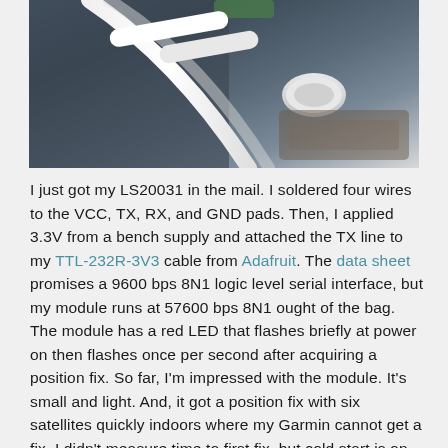[Figure (photo): Close-up photo of wires being soldered or connected to an electronic module or component, held by a person's hands. White cables visible against a dark background.]
I just got my LS20031 in the mail. I soldered four wires to the VCC, TX, RX, and GND pads. Then, I applied 3.3V from a bench supply and attached the TX line to my TTL-232R-3V3 cable from Adafruit. The data sheet promises a 9600 bps 8N1 logic level serial interface, but my module runs at 57600 bps 8N1 ought of the bag. The module has a red LED that flashes briefly at power on then flashes once per second after acquiring a position fix. So far, I'm impressed with the module. It's small and light. And, it got a position fix with six satellites quickly indoors where my Garmin cannot get a fix. I didn't measure time to first fix, but cold start is on the order of minutes and warm start is less than a minute.